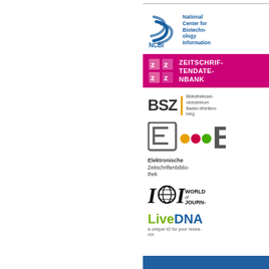[Figure (logo): NCBI National Center for Biotechnology Information logo with blue snake/helix graphic]
[Figure (logo): Zeitschriftendatenbank (ZDB) logo on magenta/pink background]
[Figure (logo): BSZ Bibliotheksservice-Zentrum Baden-Württemberg logo]
[Figure (logo): EZB Elektronische Zeitschriftenbibliothek logo with colored dots]
[Figure (logo): ICI World of Journals logo]
[Figure (logo): LiveDNA logo with tagline 'a unique ID for your research']
[Figure (other): Blue horizontal bar at bottom right]